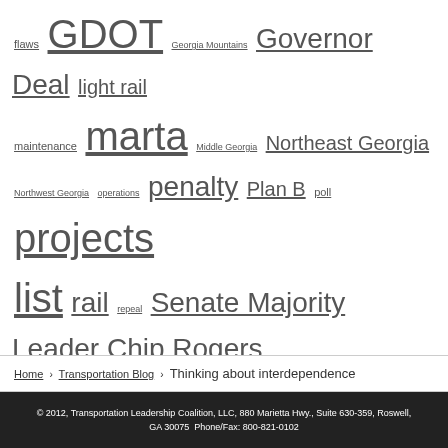flaws GDOT Georgia Mountains Governor Deal light rail maintenance marta Middle Georgia Northeast Georgia Northwest Georgia operations penalty Plan B poll projects list rail repeal Senate Majority Leader Chip Rogers Southern Georgia Southwest Georgia T-SPLOST tax Three Rivers TIA tia2010 traffic transit transportation transportation funding Truth tsplost U.S. Department of Transportation
Home › Transportation Blog › Thinking about interdependence
© 2012, Transportation Leadership Coalition, LLC, 880 Marietta Hwy., Suite 630-359, Roswell, GA 30075  Phone/Fax: 800-821-0102